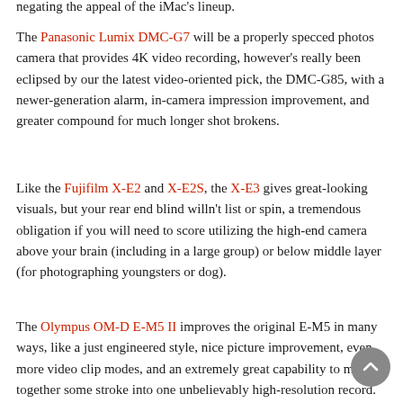negating the appeal of the iMac's lineup.
The Panasonic Lumix DMC-G7 will be a properly specced photos camera that provides 4K video recording, however's really been eclipsed by our the latest video-oriented pick, the DMC-G85, with a newer-generation alarm, in-camera impression improvement, and greater compound for much longer shot brokens.
Like the Fujifilm X-E2 and X-E2S, the X-E3 gives great-looking visuals, but your rear end blind willn't list or spin, a tremendous obligation if you will need to score utilizing the high-end camera above your brain (including in a large group) or below middle layer (for photographing youngsters or dog).
The Olympus OM-D E-M5 II improves the original E-M5 in many ways, like a just engineered style, nice picture improvement, even more video clip modes, and an extremely great capability to mix together some stroke into one unbelievably high-resolution record. Picture